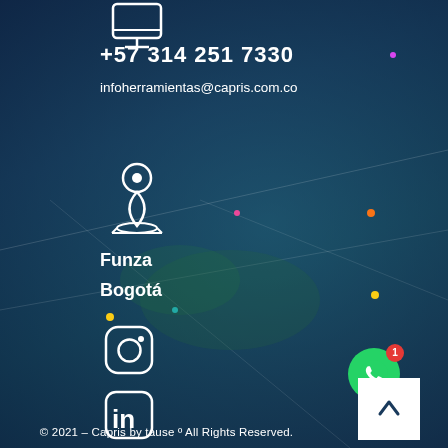[Figure (illustration): Monitor/computer icon in white line style at top left area]
+57 314 251 7330
infoherramientas@capris.com.co
[Figure (illustration): Location pin/map marker icon in white line style]
Funza
Bogotá
[Figure (illustration): Instagram icon in white line style with rounded square]
[Figure (illustration): LinkedIn icon in white line style with rounded square]
[Figure (illustration): Facebook icon in white line style with rounded square]
[Figure (illustration): WhatsApp green circular button with red badge showing number 1]
© 2021 – Capris by tause º All Rights Reserved.